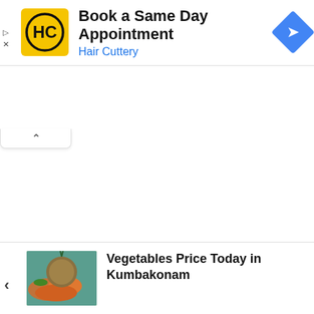[Figure (logo): Hair Cuttery HC logo in yellow square with ad banner: Book a Same Day Appointment, Hair Cuttery, with blue diamond navigation icon]
[Figure (illustration): Collapse/minimize chevron tab button]
[Figure (photo): Vegetables image thumbnail showing carrots and pineapple]
Vegetables Price Today in Kumbakonam